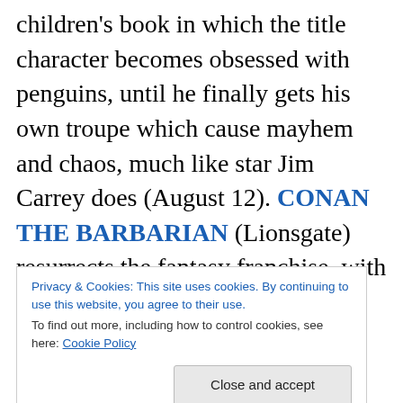children's book in which the title character becomes obsessed with penguins, until he finally gets his own troupe which cause mayhem and chaos, much like star Jim Carrey does (August 12). CONAN THE BARBARIAN (Lionsgate) resurrects the fantasy franchise, with Jason Momoa taking the title role. This version is said to be more faithful to the Robert E. Howard books than was the Schwarzenegger version (August 19). FRIGHT NIGHT (DreamWorks) is a remake of the 1985 horror flick in which a young boy suspects that the new neighbor across the street is a vampire and, along with a very timid horror
Privacy & Cookies: This site uses cookies. By continuing to use this website, you agree to their use.
To find out more, including how to control cookies, see here: Cookie Policy
Rodriguez Kid Spy series, this one with a mostly new cast